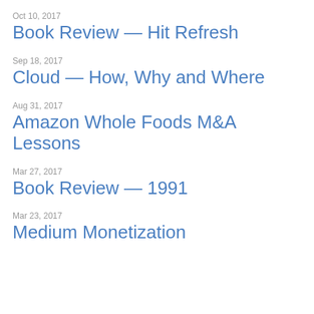Oct 10, 2017
Book Review — Hit Refresh
Sep 18, 2017
Cloud — How, Why and Where
Aug 31, 2017
Amazon Whole Foods M&A Lessons
Mar 27, 2017
Book Review — 1991
Mar 23, 2017
Medium Monetization